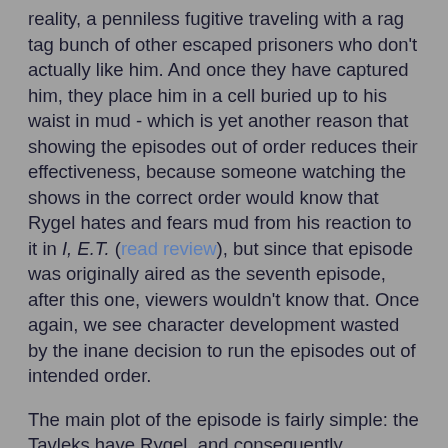reality, a penniless fugitive traveling with a rag tag bunch of other escaped prisoners who don't actually like him. And once they have captured him, they place him in a cell buried up to his waist in mud - which is yet another reason that showing the episodes out of order reduces their effectiveness, because someone watching the shows in the correct order would know that Rygel hates and fears mud from his reaction to it in I, E.T. (read review), but since that episode was originally aired as the seventh episode, after this one, viewers wouldn't know that. Once again, we see character development wasted by the inane decision to run the episodes out of intended order.
The main plot of the episode is fairly simple: the Tavleks have Rygel, and consequently unknowingly have a critical piece of Moya's infrastructure, and the rest of the crew have to figure out how to get him back. But the real meat of the story is, once again, in the character development and the blossoming interrelationships between the members of Moya's crew. And much of the character development in this episode revolves around Rygel, who is forced to confront the fact that he isn't Rygel XVI, Dominar of Hyneria, but was